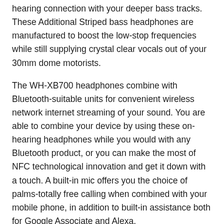hearing connection with your deeper bass tracks. These Additional Striped bass headphones are manufactured to boost the low-stop frequencies while still supplying crystal clear vocals out of your 30mm dome motorists.
The WH-XB700 headphones combine with Bluetooth-suitable units for convenient wireless network internet streaming of your sound. You are able to combine your device by using these on-hearing headphones while you would with any Bluetooth product, or you can make the most of NFC technological innovation and get it down with a touch. A built-in mic offers you the choice of palms-totally free calling when combined with your mobile phone, in addition to built-in assistance both for Google Associate and Alexa.
8. Sony WH-XB900N Wireless